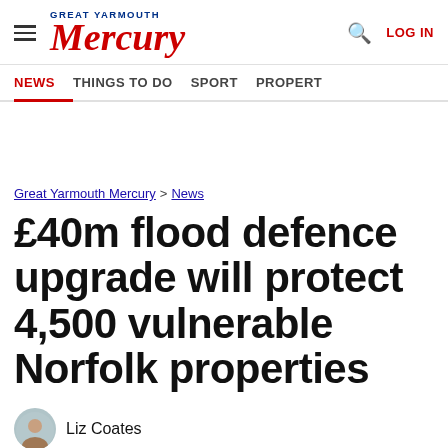Great Yarmouth Mercury — NEWS | THINGS TO DO | SPORT | PROPERTY | LOG IN
Great Yarmouth Mercury > News
£40m flood defence upgrade will protect 4,500 vulnerable Norfolk properties
Liz Coates